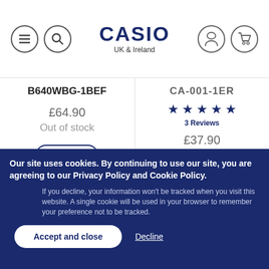CASIO UK & Ireland
B640WBG-1BEF
£64.90
Out of stock
CA-001-1ER
★★★★★
3 Reviews
£37.90
Out of stock
Our site uses cookies. By continuing to use our site, you are agreeing to our Privacy Policy and Cookie Policy.
If you decline, your information won't be tracked when you visit this website. A single cookie will be used in your browser to remember your preference not to be tracked.
Accept and close
Decline